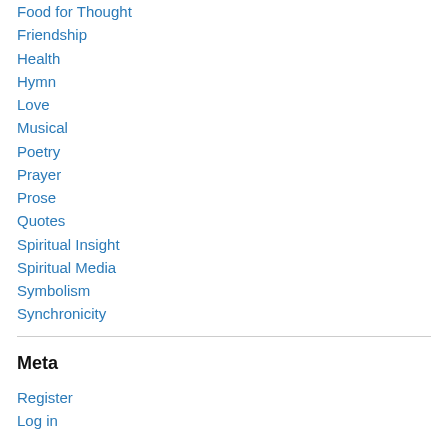Food for Thought
Friendship
Health
Hymn
Love
Musical
Poetry
Prayer
Prose
Quotes
Spiritual Insight
Spiritual Media
Symbolism
Synchronicity
Meta
Register
Log in